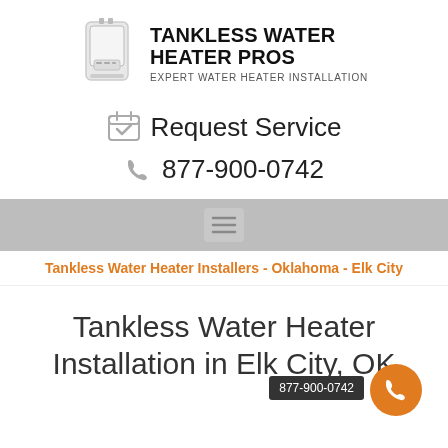[Figure (logo): Tankless Water Heater Pros logo with image of a tankless water heater unit and bold text reading TANKLESS WATER HEATER PROS with subtitle EXPERT WATER HEATER INSTALLATION]
Request Service
877-900-0742
[Figure (other): Navigation hamburger menu icon (three horizontal lines) on a gray background bar]
Tankless Water Heater Installers - Oklahoma - Elk City
Tankless Water Heater Installation in Elk City, OK
[Figure (other): Orange circular call button with phone icon, with dark tooltip showing 877-900-0742]